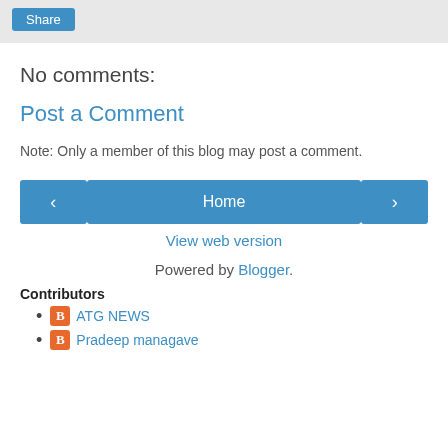[Figure (other): Share button in a grey top bar area]
No comments:
Post a Comment
Note: Only a member of this blog may post a comment.
[Figure (other): Navigation buttons: left arrow, Home, right arrow]
View web version
Powered by Blogger.
Contributors
ATG NEWS
Pradeep managave